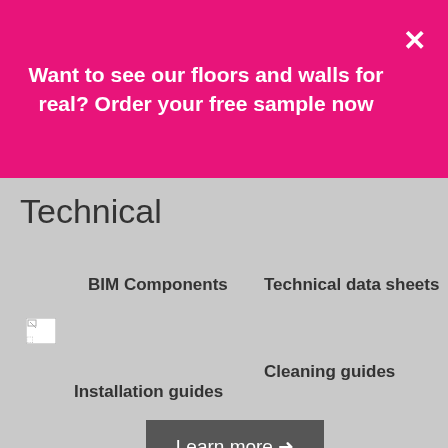Want to see our floors and walls for real? Order your free sample now
Technical
BIM Components
Technical data sheets
[Figure (other): Broken image placeholder for installation guides thumbnail]
Cleaning guides
Installation guides
Learn more →
[Figure (other): Dark teal footer bar with yellow email icon and green phone icon circles]